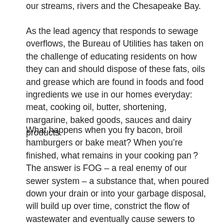our streams, rivers and the Chesapeake Bay.
As the lead agency that responds to sewage overflows, the Bureau of Utilities has taken on the challenge of educating residents on how they can and should dispose of these fats, oils and grease which are found in foods and food ingredients we use in our homes everyday: meat, cooking oil, butter, shortening, margarine, baked goods, sauces and dairy products.
What happens when you fry bacon, broil hamburgers or bake meat? When you’re finished, what remains in your cooking pan ? The answer is FOG – a real enemy of our sewer system – a substance that, when poured down your drain or into your garbage disposal, will build up over time, constrict the flow of wastewater and eventually cause sewers to back up into homes, overflow sewage into